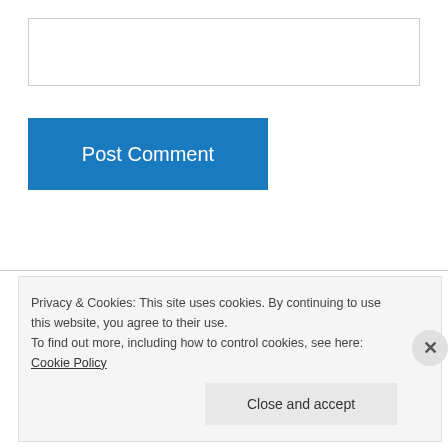[Figure (other): Text input box for comment]
Post Comment
Kristi on December 23, 2011 at 9:51 am
Did you know that “stuffing” outside the bird is technically called “dressing”?!
Privacy & Cookies: This site uses cookies. By continuing to use this website, you agree to their use.
To find out more, including how to control cookies, see here: Cookie Policy